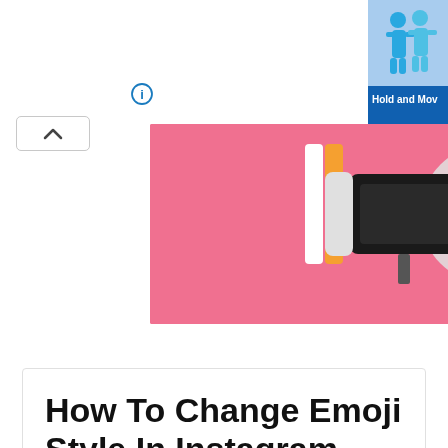[Figure (screenshot): Browser UI with info icon and collapse button at top]
[Figure (photo): Advertisement banner showing Nintendo Switch gaming console on pink background]
[Figure (screenshot): Right side ad showing people figures with text 'Hold and Mov' on blue background]
How To Change Emoji Style In Instagram
Last Updated : Jan 10, 2021
IN - Instagram
[Figure (photo): Photo of phone showing Instagram logo on a desk with notebook]